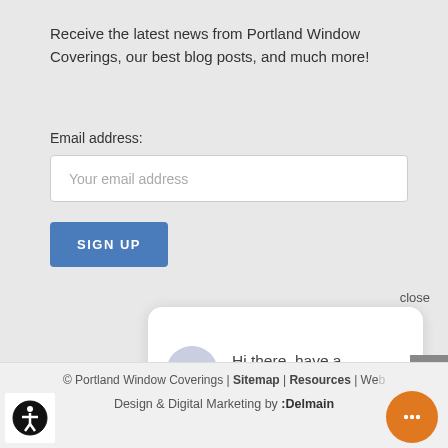Receive the latest news from Portland Window Coverings, our best blog posts, and much more!
Email address:
[Figure (screenshot): Email input field with placeholder 'Your email address']
[Figure (screenshot): Blue SIGN UP button]
close
[Figure (screenshot): Chat popup with avatar and text: Hi there, have a question? Text us here.]
© Portland Window Coverings | Sitemap | Resources | Web... Design & Digital Marketing by :Delmain